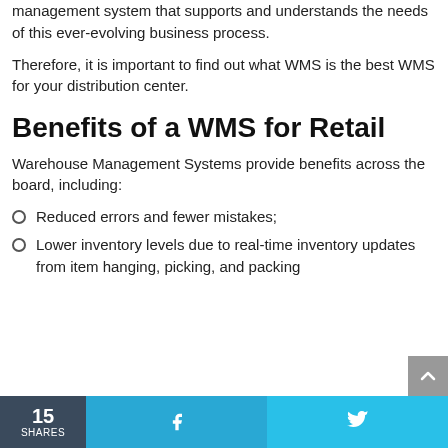management system that supports and understands the needs of this ever-evolving business process.
Therefore, it is important to find out what WMS is the best WMS for your distribution center.
Benefits of a WMS for Retail
Warehouse Management Systems provide benefits across the board, including:
Reduced errors and fewer mistakes;
Lower inventory levels due to real-time inventory updates from item hanging, picking, and packing operations;
15 SHARES  f  🐦